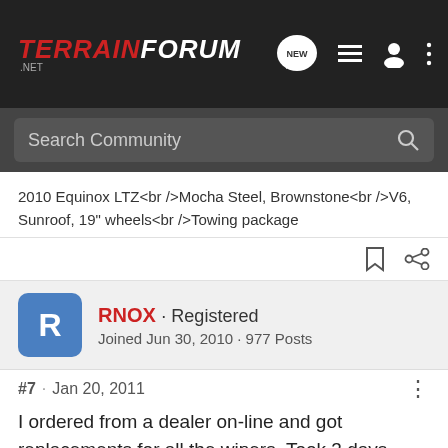TERRAIN FORUM .NET
2010 Equinox LTZ<br />Mocha Steel, Brownstone<br />V6, Sunroof, 19" wheels<br />Towing package
RNOX · Registered
Joined Jun 30, 2010 · 977 Posts
#7 · Jan 20, 2011
I ordered from a dealer on-line and got replacements for all the wipers. Took 3 days
[Figure (photo): Advertisement banner for Nitto ALL-NEW NOMAD GRAPPLER CROSSOVER-TERRAIN TIRE]